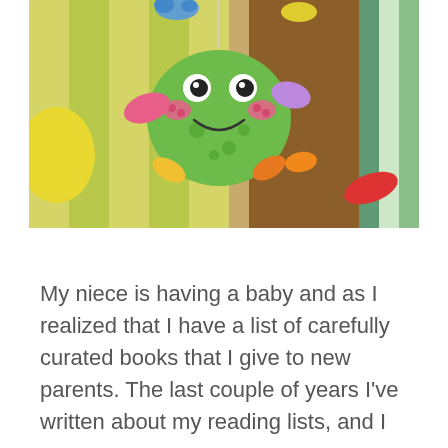[Figure (photo): A colorful baby mobile toy featuring a smiling green frog character with pink cheeks and wings, hanging from a string, with blurred colorful background including yellow-green stripes and other toy animals.]
My niece is having a baby and as I realized that I have a list of carefully curated books that I give to new parents. The last couple of years I've written about my reading lists, and I